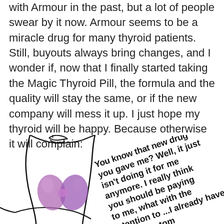with Armour in the past, but a lot of people swear by it now. Armour seems to be a miracle drug for many thyroid patients. Still, buyouts always bring changes, and I wonder if, now that I finally started taking the Magic Thyroid Pill, the formula and the quality will stay the same, or if the new company will mess it up. I just hope my thyroid will be happy. Because otherwise it will complain:
[Figure (illustration): Drawing of a person's neck/throat area with the thyroid gland highlighted in purple. Next to it, speech bubble text in bold: 'You know that new drug you gave me? Well, it just isn't doing it for me anymore. I really think you should be paying to me, what with the ...tention to ...I already have ...with the tom']